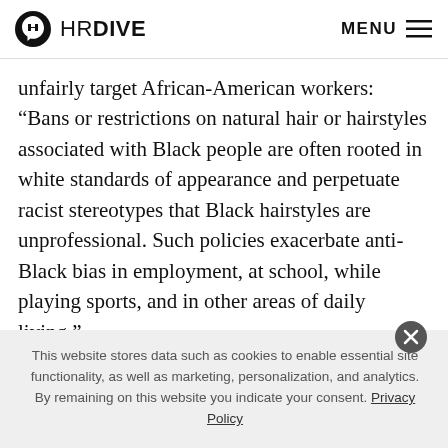HR DIVE   MENU
unfairly target African-American workers: “Bans or restrictions on natural hair or hairstyles associated with Black people are often rooted in white standards of appearance and perpetuate racist stereotypes that Black hairstyles are unprofessional. Such policies exacerbate anti-Black bias in employment, at school, while playing sports, and in other areas of daily living.”
As employers seek to expand their diversity and inclusion
This website stores data such as cookies to enable essential site functionality, as well as marketing, personalization, and analytics. By remaining on this website you indicate your consent. Privacy Policy